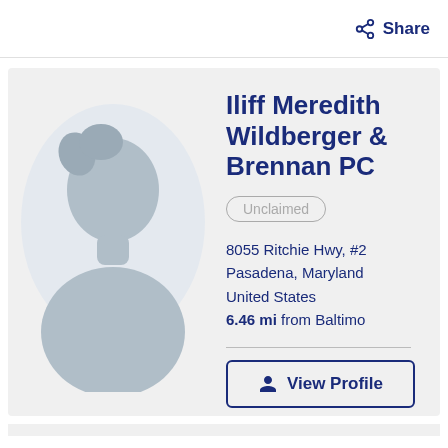Share
[Figure (illustration): Generic silhouette avatar placeholder image of a person, gray tones on light gray background]
Iliff Meredith Wildberger & Brennan PC
Unclaimed
8055 Ritchie Hwy, #2
Pasadena, Maryland
United States
6.46 mi from Baltimo...
View Profile